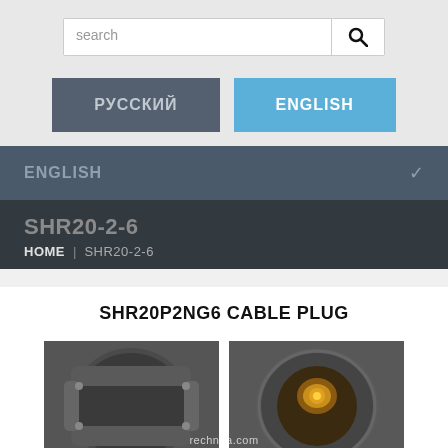[Figure (screenshot): Search input field with magnifying glass search button icon]
[Figure (screenshot): Language selection buttons: РУССКИЙ (dark grey) and ENGLISH (blue)]
[Figure (screenshot): ENGLISH dropdown navigation bar with chevron arrow]
SHR20-2-6
HOME | SHR20-2-6
SHR20P2NG6 CABLE PLUG
[Figure (photo): Two cable plug connectors (SHR20P2NG6) shown from different angles - front and rear views. Watermark reads rechnua.com]